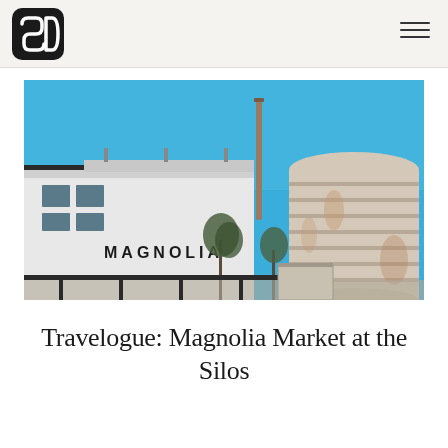[Figure (logo): Black rounded square logo with white S and D letters inside, resembling stylized SD monogram]
[Figure (photo): Photograph of Magnolia Market at the Silos in Waco, Texas. Shows a white building with 'MAGNOLIA' text, a large cylindrical grain silo, blue sky, and bare trees in the background.]
Travelogue: Magnolia Market at the Silos